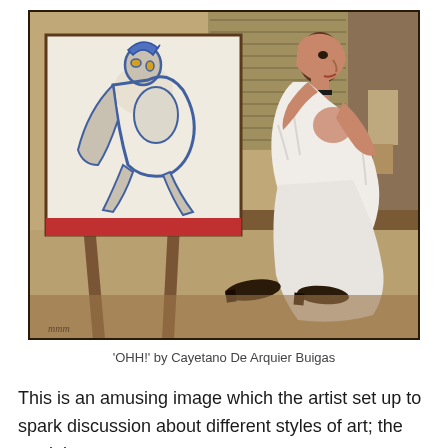[Figure (photo): A painting or photograph showing a semi-draped woman leaning forward to examine a cubist-style painting on an easel. The artwork on the easel appears to be a Picasso-like nude figure in blue tones. The setting is an interior room with wooden furniture. The woman is wearing a white draped cloth. A pair of dark shoes lies on the floor beneath the easel. The painting is signed in the lower left corner.]
'OHH!' by Cayetano De Arquier Buigas
This is an amusing image which the artist set up to spark discussion about different styles of art; the model